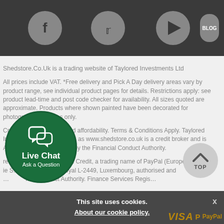[Figure (screenshot): Top navigation bar with social media icons (Facebook, Twitter, YouTube) and Blog button on dark background]
Shedstore.Co.Uk is a trading website of Taylored Investments Ltd
All prices include VAT. *Free delivery and Pick A Day delivery areas vary by product range, see individual product pages for details. Restrictions apply: see product lead-time and post code checker for availability. All sizes quoted are approximate. Products where shown painted have been decorated for photography purposes only.
Credit subject to status and affordability. Terms & Conditions Apply. Taylored Investments Limited trading as www.shedstore.co.uk is a credit broker and is Authorised and Regulated by the Financial Conduct Authority.
Credit is provided by PayPal Credit, a trading name of PayPal (Europe) Sarl et Cie S... Boulevard Royal L-2449, Luxembourg, authorised and ...nce Conduct Authority. Finance Services Regis...
[Figure (illustration): Live Chat circular button with chat bubble icons, green background, text 'Live Chat Ask a Question']
[Figure (infographic): TOP button - circular grey button with up arrow and text TOP]
This site uses cookies. About our cookie policy.
[Figure (logo): VISA and PayPal payment logos in gold/dark yellow color]